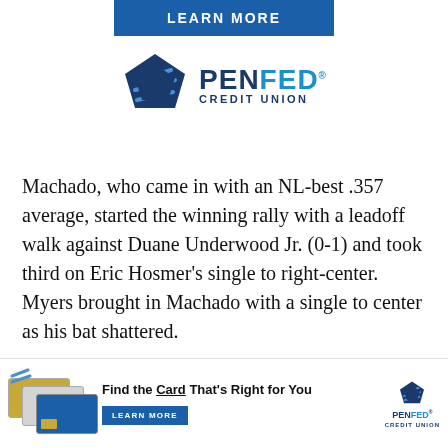[Figure (other): Blue 'LEARN MORE' button banner at top]
[Figure (logo): PenFed Credit Union logo with pentagon icon and blue text]
Machado, who came in with an NL-best .357 average, started the winning rally with a leadoff walk against Duane Underwood Jr. (0-1) and took third on Eric Hosmer’s single to right-center. Myers brought in Machado with a single to center as his bat shattered.
Nabil Crismatt (3-0) pitched a perfect eighth for the w[inn...] ninth[...]
[Figure (other): PenFed Credit Union advertisement overlay at bottom: credit cards image, 'Find the Card That’s Right for You' text, Learn More button, PenFed Credit Union logo, and close button]